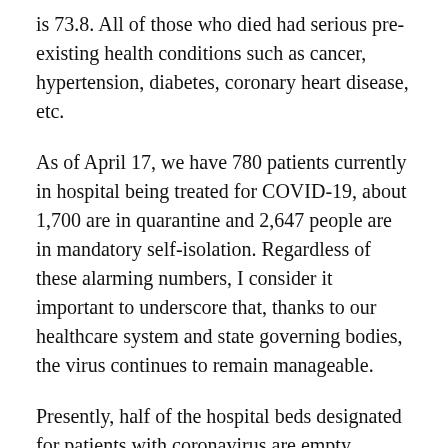is 73.8. All of those who died had serious pre-existing health conditions such as cancer, hypertension, diabetes, coronary heart disease, etc.
As of April 17, we have 780 patients currently in hospital being treated for COVID-19, about 1,700 are in quarantine and 2,647 people are in mandatory self-isolation. Regardless of these alarming numbers, I consider it important to underscore that, thanks to our healthcare system and state governing bodies, the virus continues to remain manageable.
Presently, half of the hospital beds designated for patients with coronavirus are empty.
This is the most important indicator in controlling the pandemic. In many more-